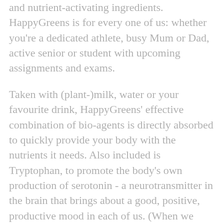and nutrient-activating ingredients. HappyGreens is for every one of us: whether you're a dedicated athlete, busy Mum or Dad, active senior or student with upcoming assignments and exams.
Taken with (plant-)milk, water or your favourite drink, HappyGreens' effective combination of bio-agents is directly absorbed to quickly provide your body with the nutrients it needs. Also included is Tryptophan, to promote the body's own production of serotonin - a neurotransmitter in the brain that brings about a good, positive, productive mood in each of us. (When we don't have the right level of serotonin, depression can interfere with our getting things done and mean we just don't feel right.) Stay Happy with HappyGreens!